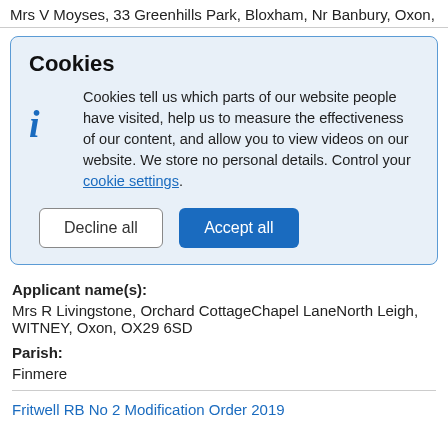Mrs V Moyses, 33 Greenhills Park, Bloxham, Nr Banbury, Oxon,
[Figure (screenshot): Cookie consent dialog box with blue background, bold 'Cookies' title, info icon, descriptive text about cookies, a link for cookie settings, and two buttons: 'Decline all' (outlined) and 'Accept all' (blue filled).]
Applicant name(s):
Mrs R Livingstone, Orchard CottageChapel LaneNorth Leigh, WITNEY, Oxon, OX29 6SD
Parish:
Finmere
Fritwell RB No 2 Modification Order 2019